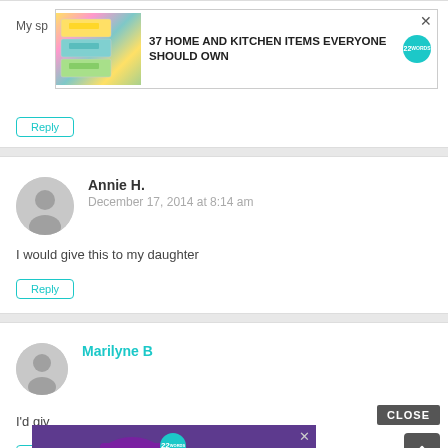[Figure (screenshot): Top comment card partially visible with 'My sp...' text, Reply button, and an advertisement banner showing zip bags with text '37 HOME AND KITCHEN ITEMS EVERYONE SHOULD OWN' and a 22words badge]
My sp
Reply
Annie H.
December 17, 2014 at 8:14 am
I would give this to my daughter
Reply
Marilyne B
CLOSE
[Figure (screenshot): Advertisement overlay showing purple headphones on wood surface with text '37 GENIUS AMAZON PRODUCTS THAT CAN BE USED BY ANYONE' and a 22words badge. Has X close button.]
I'd giv
Rep